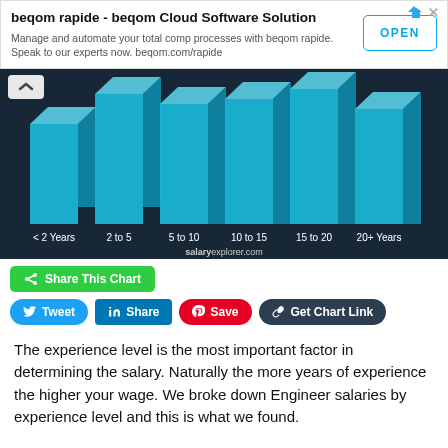[Figure (screenshot): Advertisement banner for beqom rapide - beqom Cloud Software Solution with OPEN button]
[Figure (bar-chart): Bar chart showing salary by years of experience: < 2 Years, 2 to 5, 5 to 10, 10 to 15, 15 to 20, 20+ Years. Blue 3D bars on dark background. Source: salaryexplorer.com]
[Figure (screenshot): Share This Chart button (green), Tweet button (blue), Share button (LinkedIn blue), Save button (Pinterest red), Get Chart Link button (dark navy)]
The experience level is the most important factor in determining the salary. Naturally the more years of experience the higher your wage. We broke down Engineer salaries by experience level and this is what we found.